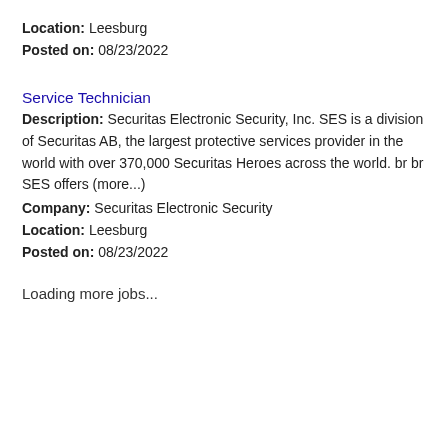Location: Leesburg
Posted on: 08/23/2022
Service Technician
Description: Securitas Electronic Security, Inc. SES is a division of Securitas AB, the largest protective services provider in the world with over 370,000 Securitas Heroes across the world. br br SES offers (more...)
Company: Securitas Electronic Security
Location: Leesburg
Posted on: 08/23/2022
Loading more jobs...